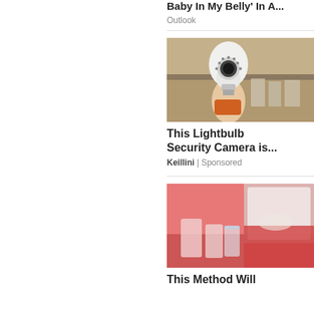Baby In My Belly' In A...
Outlook
[Figure (photo): A hand holding a lightbulb-shaped security camera]
This Lightbulb Security Camera is...
Keillini | Sponsored
[Figure (photo): A person in a red setting with what appears to be drinks or glasses on a table]
This Method Will